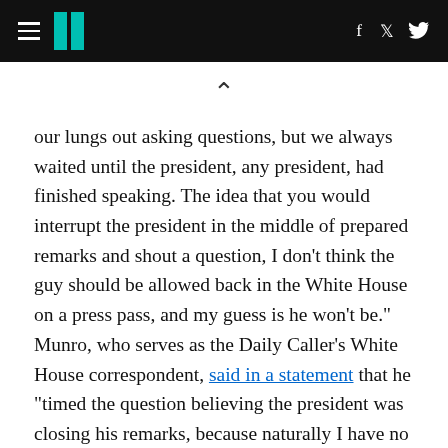HuffPost navigation header with hamburger menu, logo, Facebook and Twitter icons
[Figure (other): Caret/chevron up symbol used as a scroll or collapse indicator]
our lungs out asking questions, but we always waited until the president, any president, had finished speaking. The idea that you would interrupt the president in the middle of prepared remarks and shout a question, I don't think the guy should be allowed back in the White House on a press pass, and my guess is he won't be."
Munro, who serves as the Daily Caller's White House correspondent, said in a statement that he "timed the question believing the president was closing his remarks, because naturally I have no